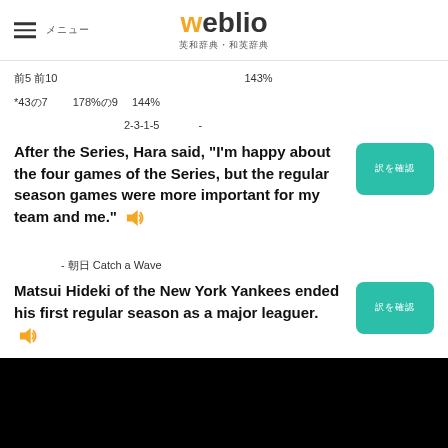weblio 英和辞典
前5 前10　　143%　　
*43の7 　　178%の9 　144%　　　　　
　　　　2-3-1-5 　　 -
After the Series, Hara said, "I'm happy about the four games of the Series, but the regular season games were more important for my team and me."
- 　　 Catch a Wave
Matsui Hideki of the New York Yankees ended his first regular season as a major leaguer.